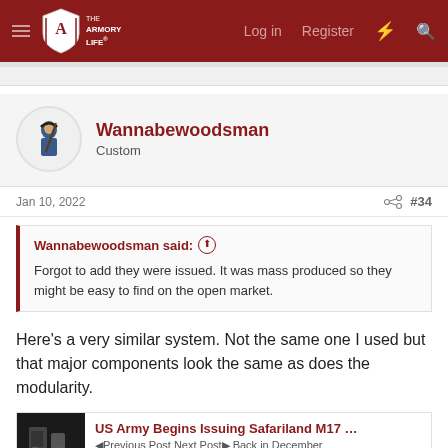The Armory Life — Log in  Register
Wannabewoodsman
Custom
Jan 10, 2022  #34
Wannabewoodsman said: Forgot to add they were issued. It was mass produced so they might be easy to find on the open market.
Here’s a very similar system. Not the same one I used but that major components look the same as does the modularity.
US Army Begins Issuing Safariland M17 ... &#9664;Previous Post Next Post► Back in December